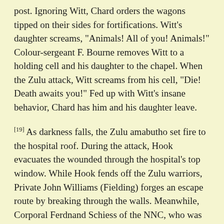post. Ignoring Witt, Chard orders the wagons tipped on their sides for fortifications. Witt's daughter screams, "Animals! All of you! Animals!" Colour-sergeant F. Bourne removes Witt to a holding cell and his daughter to the chapel. When the Zulu attack, Witt screams from his cell, "Die! Death awaits you!" Fed up with Witt's insane behavior, Chard has him and his daughter leave.
[19] As darkness falls, the Zulu amabutho set fire to the hospital roof. During the attack, Hook evacuates the wounded through the hospital's top window. While Hook fends off the Zulu warriors, Private John Williams (Fielding) forges an escape route by breaking through the walls. Meanwhile, Corporal Ferdnand Schiess of the NNC, who was previously wounded, limps outside to join the fight.